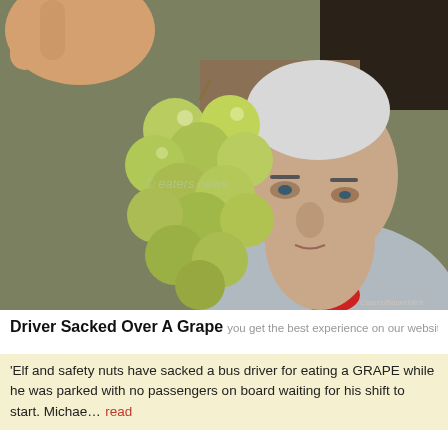[Figure (photo): An older man with grey hair holding up a bunch of green grapes close to the camera. A watermark reading '© eaters news' is visible in the center of the image.]
Driver Sacked Over A Grape
you get the best experience on our website More Info Got it
'Elf and safety nuts have sacked a bus driver for eating a GRAPE while he was parked with no passengers on board waiting for his shift to start. Michae… read